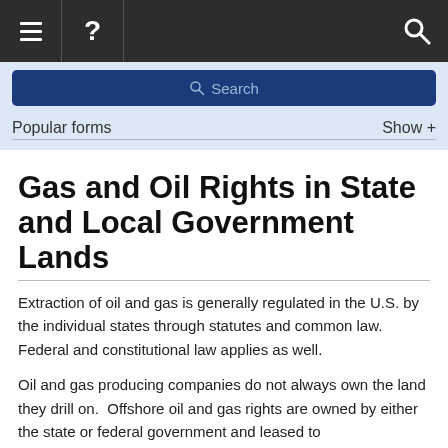≡  ?  🔍
[Figure (screenshot): Search bar on blue background with dark blue search button]
Popular forms    Show +
Gas and Oil Rights in State and Local Government Lands
Extraction of oil and gas is generally regulated in the U.S. by the individual states through statutes and common law. Federal and constitutional law applies as well.
Oil and gas producing companies do not always own the land they drill on.  Offshore oil and gas rights are owned by either the state or federal government and leased to